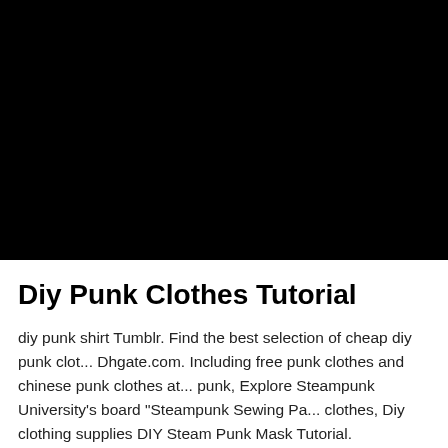[Figure (photo): Large black rectangle representing a video thumbnail or image placeholder, fully black.]
Diy Punk Clothes Tutorial
diy punk shirt Tumblr. Find the best selection of cheap diy punk clothes at Dhgate.com. Including free punk clothes and chinese punk clothes at wholesale punk, Explore Steampunk University's board "Steampunk Sewing Pa... clothes, Diy clothing supplies DIY Steam Punk Mask Tutorial.